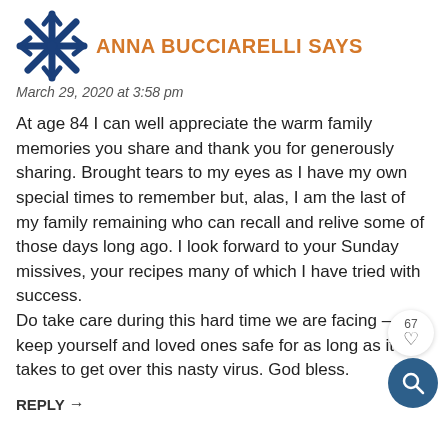[Figure (illustration): Blue decorative snowflake/asterisk avatar icon in the upper left, representing a blog commenter avatar]
ANNA BUCCIARELLI SAYS
March 29, 2020 at 3:58 pm
At age 84 I can well appreciate the warm family memories you share and thank you for generously sharing. Brought tears to my eyes as I have my own special times to remember but, alas, I am the last of my family remaining who can recall and relive some of those days long ago. I look forward to your Sunday missives, your recipes many of which I have tried with success.
Do take care during this hard time we are facing – keep yourself and loved ones safe for as long as it takes to get over this nasty virus. God bless.
REPLY →